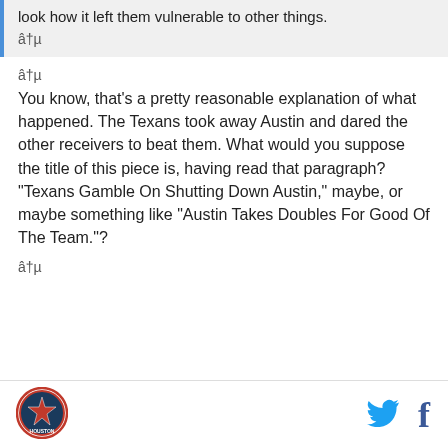look how it left them vulnerable to other things.
â†µ
â†µ
You know, that's a pretty reasonable explanation of what happened. The Texans took away Austin and dared the other receivers to beat them. What would you suppose the title of this piece is, having read that paragraph? "Texans Gamble On Shutting Down Austin," maybe, or maybe something like "Austin Takes Doubles For Good Of The Team."?
â†µ
[Figure (logo): Houston Texans circular logo with star and text]